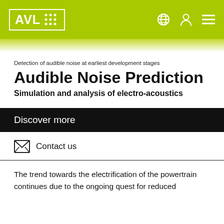AVL — Navigation bar with logo, globe, user, and menu icons
Detection of audible noise at earliest development stages
Audible Noise Prediction
Simulation and analysis of electro-acoustics
Discover more
Contact us
The trend towards the electrification of the powertrain continues due to the ongoing quest for reduced